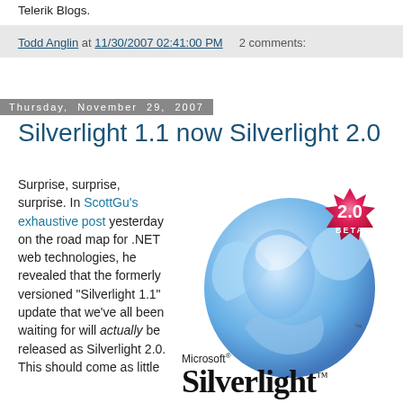Telerik Blogs.
Todd Anglin at 11/30/2007 02:41:00 PM    2 comments:
Thursday, November 29, 2007
Silverlight 1.1 now Silverlight 2.0
Surprise, surprise, surprise. In ScottGu's exhaustive post yesterday on the road map for .NET web technologies, he revealed that the formerly versioned "Silverlight 1.1" update that we've all been waiting for will actually be released as Silverlight 2.0. This should come as little
[Figure (illustration): Microsoft Silverlight 2.0 Beta logo — a blue 3D spherical ribbon shape with a pink/magenta badge reading '2.0 BETA', and below it the text 'Microsoft® Silverlight™']